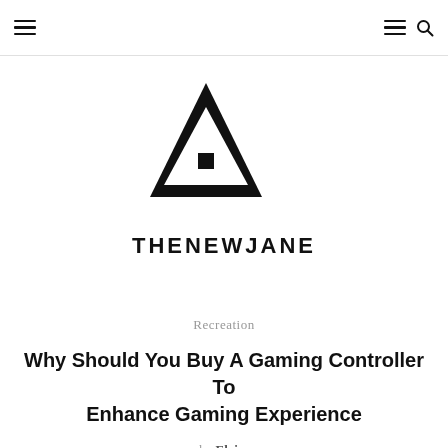Navigation bar with hamburger menu and search icon
[Figure (logo): THENEWJANE logo: bold black triangle/house shape with a small square cutout inside, with the text THENEWJANE below in bold uppercase sans-serif]
Recreation
Why Should You Buy A Gaming Controller To Enhance Gaming Experience
by Eloise